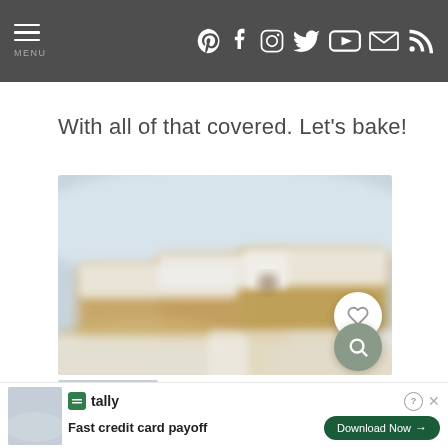MENU — social icons: Pinterest, Facebook, Instagram, Twitter, YouTube, Email, RSS
With all of that covered. Let's bake!
[Figure (photo): Blurred close-up photo of white-frosted baked goods (cookies or bars) with a heart icon button and a search icon button overlaid]
[Figure (infographic): Tally app advertisement banner: 'Fast credit card payoff' with Download Now button]